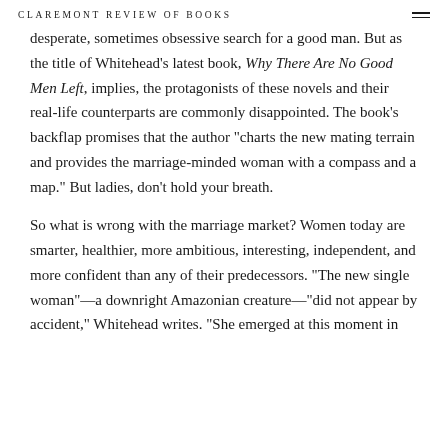CLAREMONT REVIEW OF BOOKS
desperate, sometimes obsessive search for a good man. But as the title of Whitehead's latest book, Why There Are No Good Men Left, implies, the protagonists of these novels and their real-life counterparts are commonly disappointed. The book's backflap promises that the author "charts the new mating terrain and provides the marriage-minded woman with a compass and a map." But ladies, don't hold your breath.
So what is wrong with the marriage market? Women today are smarter, healthier, more ambitious, interesting, independent, and more confident than any of their predecessors. "The new single woman"—a downright Amazonian creature—"did not appear by accident," Whitehead writes. "She emerged at this moment in